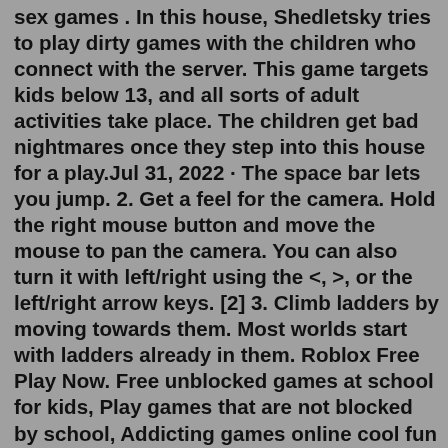sex games . In this house, Shedletsky tries to play dirty games with the children who connect with the server. This game targets kids below 13, and all sorts of adult activities take place. The children get bad nightmares once they step into this house for a play.Jul 31, 2022 · The space bar lets you jump. 2. Get a feel for the camera. Hold the right mouse button and move the mouse to pan the camera. You can also turn it with left/right using the <, >, or the left/right arrow keys. [2] 3. Climb ladders by moving towards them. Most worlds start with ladders already in them. Roblox Free Play Now. Free unblocked games at school for kids, Play games that are not blocked by school, Addicting games online cool fun from unblocked games.com Roblox - Unblocked Games 66. Roblox Create your Roblox world In Roblox and Kogama you can create your own maps and share them with the community. Play Parkour, Escape Room, PVP and ...So, if you want to play solo or want to play a game without your friends' interruption